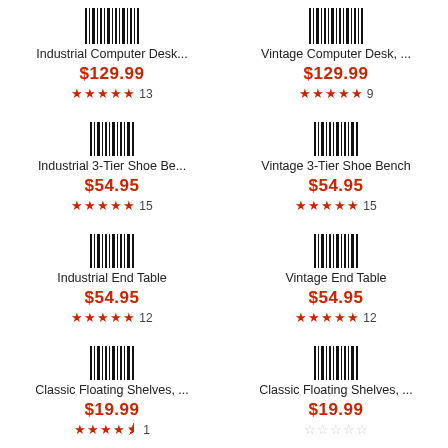[Figure (other): Barcode icon for Industrial Computer Desk]
Industrial Computer Desk...
$129.99
★★★★★ 13
[Figure (other): Barcode icon for Vintage Computer Desk]
Vintage Computer Desk, ...
$129.99
★★★★★ 9
[Figure (other): Barcode icon for Industrial 3-Tier Shoe Bench]
Industrial 3-Tier Shoe Be...
$54.95
★★★★★ 15
[Figure (other): Barcode icon for Vintage 3-Tier Shoe Bench]
Vintage 3-Tier Shoe Bench
$54.95
★★★★★ 15
[Figure (other): Barcode icon for Industrial End Table]
Industrial End Table
$54.95
★★★★★ 12
[Figure (other): Barcode icon for Vintage End Table]
Vintage End Table
$54.95
★★★★★ 12
[Figure (other): Barcode icon for Classic Floating Shelves left]
Classic Floating Shelves, ...
$19.99
★★★★½ 1
[Figure (other): Barcode icon for Classic Floating Shelves right]
Classic Floating Shelves, ...
$19.99
☆☆☆☆☆